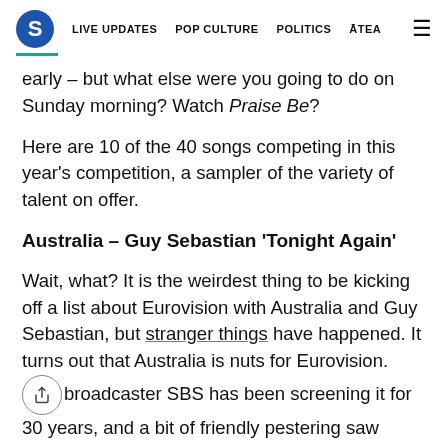S  LIVE UPDATES  POP CULTURE  POLITICS  ĀTEA  ☰
early – but what else were you going to do on Sunday morning? Watch Praise Be?
Here are 10 of the 40 songs competing in this year's competition, a sampler of the variety of talent on offer.
Australia – Guy Sebastian 'Tonight Again'
Wait, what? It is the weirdest thing to be kicking off a list about Eurovision with Australia and Guy Sebastian, but stranger things have happened. It turns out that Australia is nuts for Eurovision. Public broadcaster SBS has been screening it for 30 years, and a bit of friendly pestering saw